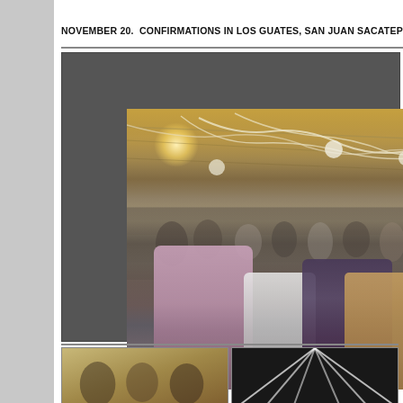NOVEMBER 20.  CONFIRMATIONS IN LOS GUATES, SAN JUAN SACATEPE...
[Figure (photo): Indoor photo of a confirmation ceremony in Los Guates, San Juan Sacatepéquez, Guatemala. A large group of people gathered inside a building with a corrugated metal roof decorated with white streamers and balloon-like decorations. Bright light glows from the upper left. In the foreground, several women in traditional Guatemalan huipil dress and other participants stand. A watermark reading '(C) www...' appears in the lower right corner.]
[Figure (photo): Partial bottom-left photo, appears to show people at the same event, warm tones.]
[Figure (photo): Partial bottom-right photo, appears to show a dark/high-contrast image, possibly palms or decorations.]